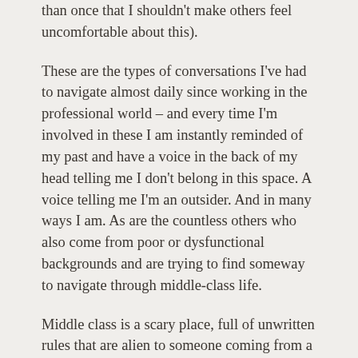than once that I shouldn't make others feel uncomfortable about this).
These are the types of conversations I've had to navigate almost daily since working in the professional world – and every time I'm involved in these I am instantly reminded of my past and have a voice in the back of my head telling me I don't belong in this space. A voice telling me I'm an outsider. And in many ways I am. As are the countless others who also come from poor or dysfunctional backgrounds and are trying to find someway to navigate through middle-class life.
Middle class is a scary place, full of unwritten rules that are alien to someone coming from a background where survival is paramount. Growing up poor, your brain is constantly working out how to